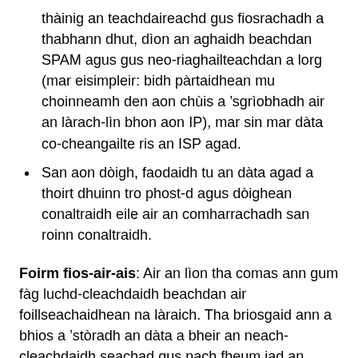thàinig an teachdaireachd gus fiosrachadh a thabhann dhut, dìon an aghaidh beachdan SPAM agus gus neo-riaghailteachdan a lorg (mar eisimpleir: bidh pàrtaidhean mu choinneamh den aon chùis a 'sgrìobhadh air an làrach-lìn bhon aon IP), mar sin mar dàta co-cheangailte ris an ISP agad.
San aon dòigh, faodaidh tu an dàta agad a thoirt dhuinn tro phost-d agus dòighean conaltraidh eile air an comharrachadh san roinn conaltraidh.
Foirm fios-air-ais: Air an lìon tha comas ann gum fàg luchd-cleachdaidh beachdan air foillseachaidhean na làraich. Tha briosgaid ann a bhios a 'stòradh an dàta a bheir an neach-cleachdaidh seachad gus nach fheum iad an